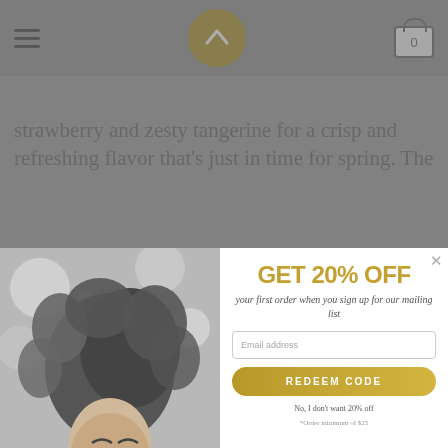Navigation bar with hamburger menu, logo circle, and cart icon
strawberry and zesty tangerine for a crisp and refreshing flavor that's just in time for spring. The
[Figure (photo): Black and white photo of a woman with curly hair laughing and looking up, with bokeh background]
GET 20% OFF
your first order when you sign up for our mailing list
Email address input field
REDEEM CODE button
No, I don't want 20% off
*Order minimum of $25
allow your body to absorb the cannabinoids up to six times faster than traditional hemp products.
One-time Purchase